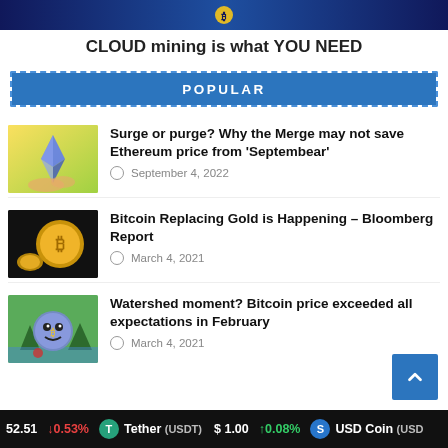[Figure (illustration): Dark blue banner header with gradient background]
CLOUD mining is what YOU NEED
POPULAR
[Figure (photo): Hands holding Ethereum coin with yellow/green background]
Surge or purge? Why the Merge may not save Ethereum price from ‘Septembear’
September 4, 2022
[Figure (photo): Bitcoin coin with gold nugget on black background]
Bitcoin Replacing Gold is Happening – Bloomberg Report
March 4, 2021
[Figure (illustration): Watershed cartoon character, Bitcoin themed illustration on green background]
Watershed moment? Bitcoin price exceeded all expectations in February
March 4, 2021
52.51  ↓0.53%   Tether (USDT) $1.00  ↑0.08%   USD Coin (USD